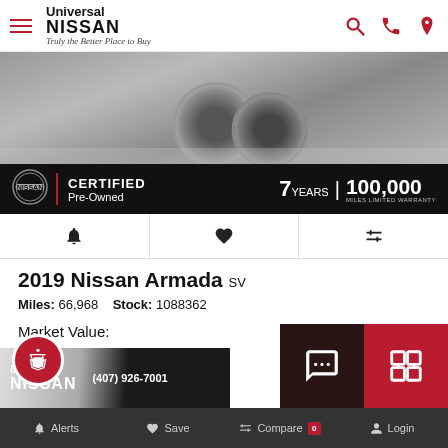Universal NISSAN — Truly the Better Place to Buy
[Figure (photo): Close-up photo of a Nissan vehicle wheel and front bumper area, black and white tones, with Nissan Certified Pre-Owned banner showing 7 Years | 100,000 Miles Limited Warranty]
[Figure (infographic): Three action icons: bell (alerts), heart (save), and arrows/compare]
2019 Nissan Armada SV
Miles: 66,968   Stock: 1088362
Market Value: $33,460
You Save: $1,473
Internet Price: $31,987
Alerts  Save  Compare 0  Login